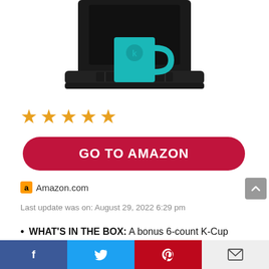[Figure (photo): Bottom portion of a black Keurig-style coffee maker with a teal/turquoise mug placed on the drip tray, white background]
[Figure (other): Five orange star rating icons]
[Figure (other): Red rounded rectangle button with white bold text 'GO TO AMAZON']
Amazon.com
Last update was on: August 29, 2022 6:29 pm
WHAT'S IN THE BOX: A bonus 6-count K-Cup
[Figure (other): Social sharing footer bar with Facebook (blue), Twitter (light blue), Pinterest (red), and email (gray) icons]